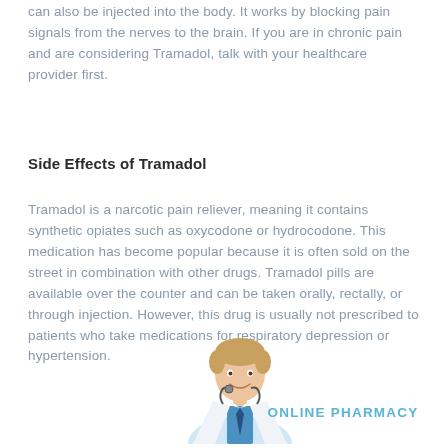can also be injected into the body. It works by blocking pain signals from the nerves to the brain. If you are in chronic pain and are considering Tramadol, talk with your healthcare provider first.
Side Effects of Tramadol
Tramadol is a narcotic pain reliever, meaning it contains synthetic opiates such as oxycodone or hydrocodone. This medication has become popular because it is often sold on the street in combination with other drugs. Tramadol pills are available over the counter and can be taken orally, rectally, or through injection. However, this drug is usually not prescribed to patients who take medications for respiratory depression or hypertension.
[Figure (illustration): A smiling male doctor in white coat with a stethoscope, shown from the waist up, partial image]
ONLINE PHARMACY